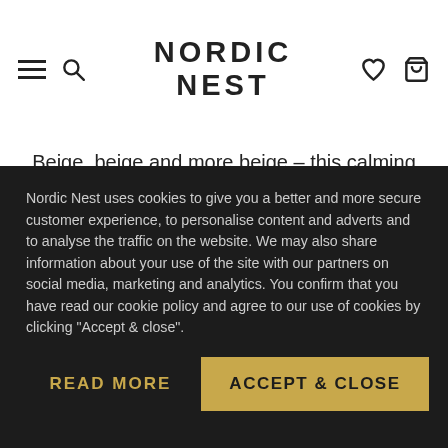NORDIC NEST
Beige, beige and more beige – this calming tone is more popular than ever, as anyone with an Instagram account will confirm. This neutral interior shade brings warmth and calm to your home, and we are pleased to say it is here to stay. We have brought together a list of 7 beige favourites
Nordic Nest uses cookies to give you a better and more secure customer experience, to personalise content and adverts and to analyse the traffic on the website. We may also share information about your use of the site with our partners on social media, marketing and analytics. You confirm that you have read our cookie policy and agree to our use of cookies by clicking "Accept & close".
READ MORE
ACCEPT & CLOSE